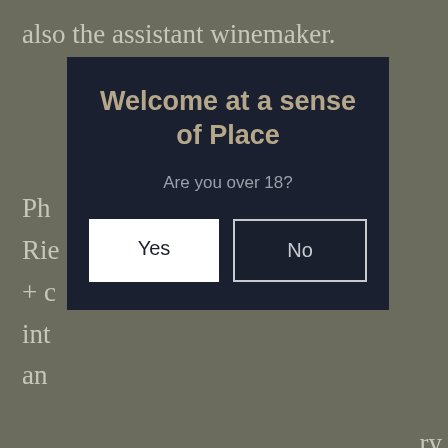also the assistant winemaker.
Ph
Rie
+ c
int
an
[Figure (screenshot): Age verification modal dialog with dark navy background. Title: 'Welcome at a sense of Place'. Subtitle: 'Are you over 18?' Two buttons: 'Yes' (white) and 'No' (dark with border).]
course, but also the whites. All indigenous yeasts in used barrels, with a little experimentation with concrete eggs and acacia barrels in the mix.
This all creates rich, voluptuous, serious mineral wines that show the full (and unique) potential of its